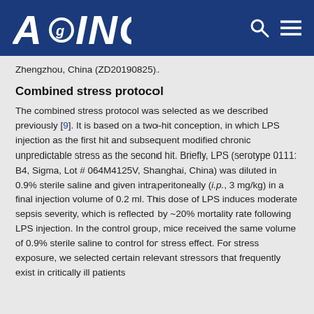AGING
Zhengzhou, China (ZD20190825).
Combined stress protocol
The combined stress protocol was selected as we described previously [9]. It is based on a two-hit conception, in which LPS injection as the first hit and subsequent modified chronic unpredictable stress as the second hit. Briefly, LPS (serotype 0111: B4, Sigma, Lot # 064M4125V, Shanghai, China) was diluted in 0.9% sterile saline and given intraperitoneally (i.p., 3 mg/kg) in a final injection volume of 0.2 ml. This dose of LPS induces moderate sepsis severity, which is reflected by ~20% mortality rate following LPS injection. In the control group, mice received the same volume of 0.9% sterile saline to control for stress effect. For stress exposure, we selected certain relevant stressors that frequently exist in critically ill patients